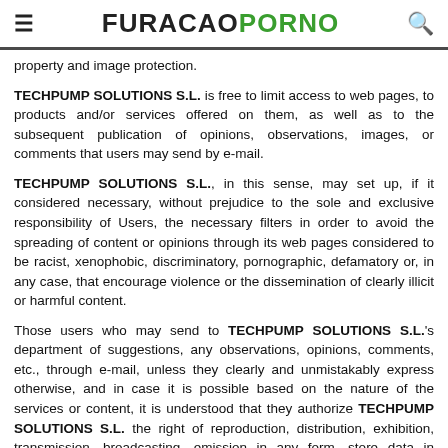FURACAOPORNO
property and image protection.
TECHPUMP SOLUTIONS S.L. is free to limit access to web pages, to products and/or services offered on them, as well as to the subsequent publication of opinions, observations, images, or comments that users may send by e-mail.
TECHPUMP SOLUTIONS S.L., in this sense, may set up, if it considered necessary, without prejudice to the sole and exclusive responsibility of Users, the necessary filters in order to avoid the spreading of content or opinions through its web pages considered to be racist, xenophobic, discriminatory, pornographic, defamatory or, in any case, that encourage violence or the dissemination of clearly illicit or harmful content.
Those users who may send to TECHPUMP SOLUTIONS S.L.'s department of suggestions, any observations, opinions, comments, etc., through e-mail, unless they clearly and unmistakably express otherwise, and in case it is possible based on the nature of the services or content, it is understood that they authorize TECHPUMP SOLUTIONS S.L. the right of reproduction, distribution, exhibition, transmission, broadcasting, emission in any form, store data in physical or logical storages (such as, floppy disks or hard drives on computers), digitalization or accessing data bases belonging to TECHPUMP SOLUTIONS S.L.., as well as its